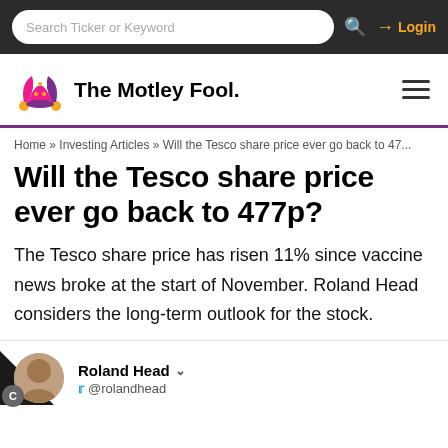Search Ticker or Keyword  Login
[Figure (logo): The Motley Fool logo with jester hat icon]
Home » Investing Articles » Will the Tesco share price ever go back to 47...
Will the Tesco share price ever go back to 477p?
The Tesco share price has risen 11% since vaccine news broke at the start of November. Roland Head considers the long-term outlook for the stock.
Roland Head @rolandhead